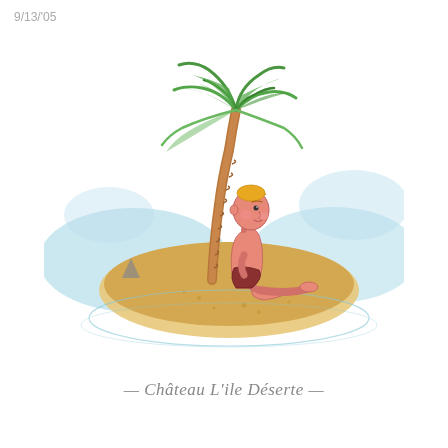9/13/'05
[Figure (illustration): A cartoon illustration of a sunburned person with orange hair sitting on a tiny desert island, leaning against a single palm tree. The island is surrounded by light blue water. A small shark fin is visible in the water to the left.]
— Château L'ile Déserte —